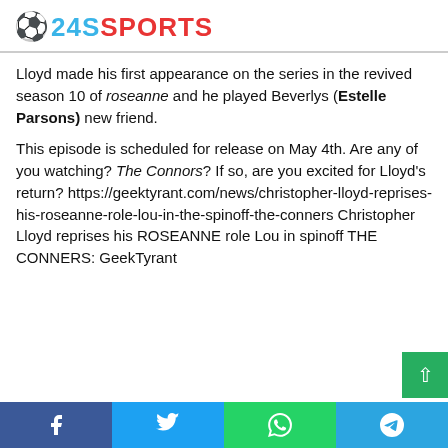24SSPORTS
Lloyd made his first appearance on the series in the revived season 10 of roseanne and he played Beverlys (Estelle Parsons) new friend.
This episode is scheduled for release on May 4th. Are any of you watching? The Connors? If so, are you excited for Lloyd's return? https://geektyrant.com/news/christopher-lloyd-reprises-his-roseanne-role-lou-in-the-spinoff-the-conners Christopher Lloyd reprises his ROSEANNE role Lou in spinoff THE CONNERS: GeekTyrant